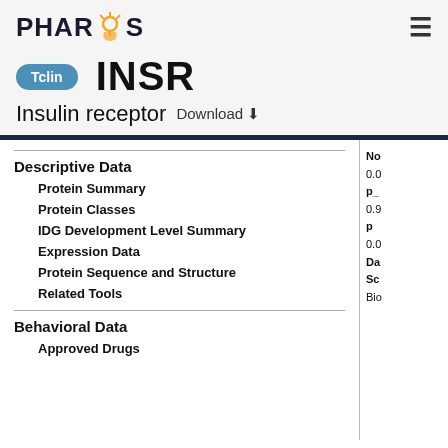PHAROS
INSR
Tclin
Insulin receptor   Download ⬇
Descriptive Data
Protein Summary
Protein Classes
IDG Development Level Summary
Expression Data
Protein Sequence and Structure
Related Tools
Behavioral Data
Approved Drugs
No 0.0 p_ 0.9 p 0.0 Da Sc Bio